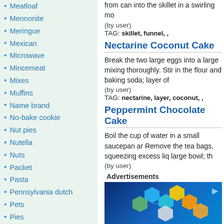Meatloaf
Mennonite
Meringue
Mexican
Microwave
Mincemeat
Mixes
Muffins
Name brand
No-bake cookie
Nut pies
Nutella
Nuts
Packet
Pasta
Pennsylvania dutch
Pets
Pies
Pizzas
Popcorn
Pork
Potatoes
Poultry
Preparing food
Preserving
Pressure cooker
Quiches
Quick and Easy
from can into the skillet in a swirling mo
(by user)
TAG: skillet, funnel, ,
Nectarine Coconut Cake
Break the two large eggs into a large mixing thoroughly. Stir in the flour and baking soda; layer of
(by user)
TAG: nectarine, layer, coconut, ,
Peppermint Chocolate Cake
Boil the cup of water in a small saucepan ar Remove the tea bags, squeezing excess liq large bowl; th
(by user)
Advertisements
[Figure (photo): Blue-toned technology advertisement image showing a laptop keyboard with glowing hexagonal icons and the text 'Business Cloud Storage SW' at the bottom.]